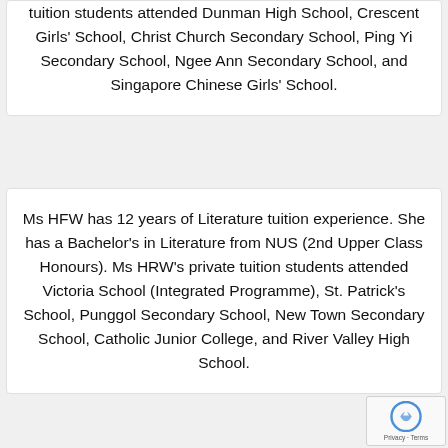tuition students attended Dunman High School, Crescent Girls' School, Christ Church Secondary School, Ping Yi Secondary School, Ngee Ann Secondary School, and Singapore Chinese Girls' School.
Ms HFW has 12 years of Literature tuition experience. She has a Bachelor's in Literature from NUS (2nd Upper Class Honours). Ms HRW's private tuition students attended Victoria School (Integrated Programme), St. Patrick's School, Punggol Secondary School, New Town Secondary School, Catholic Junior College, and River Valley High School.